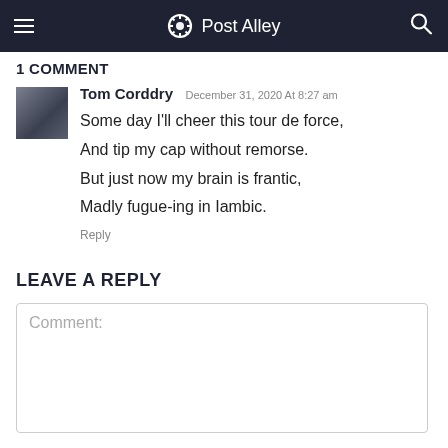Post Alley
1 COMMENT
Tom Corddry  December 31, 2020 At 8:27 am
Some day I'll cheer this tour de force,
And tip my cap without remorse.
But just now my brain is frantic,
Madly fugue-ing in Iambic.
Reply
LEAVE A REPLY
Comment: